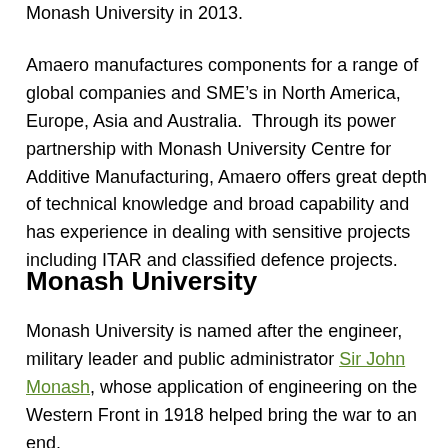Monash University in 2013.
Amaero manufactures components for a range of global companies and SME’s in North America, Europe, Asia and Australia.  Through its power partnership with Monash University Centre for Additive Manufacturing, Amaero offers great depth of technical knowledge and broad capability and has experience in dealing with sensitive projects including ITAR and classified defence projects.
Monash University
Monash University is named after the engineer, military leader and public administrator Sir John Monash, whose application of engineering on the Western Front in 1918 helped bring the war to an end.